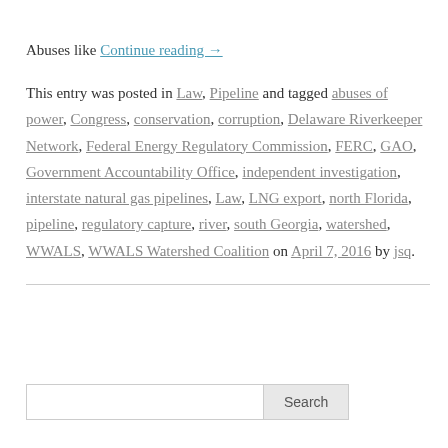Abuses like Continue reading →
This entry was posted in Law, Pipeline and tagged abuses of power, Congress, conservation, corruption, Delaware Riverkeeper Network, Federal Energy Regulatory Commission, FERC, GAO, Government Accountability Office, independent investigation, interstate natural gas pipelines, Law, LNG export, north Florida, pipeline, regulatory capture, river, south Georgia, watershed, WWALS, WWALS Watershed Coalition on April 7, 2016 by jsq.